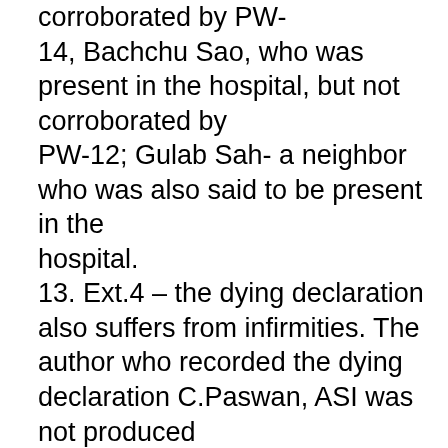corroborated by PW-14, Bachchu Sao, who was present in the hospital, but not corroborated by PW-12; Gulab Sah- a neighbor who was also said to be present in the hospital. 13. Ext.4 – the dying declaration also suffers from infirmities. The author who recorded the dying declaration C.Paswan, ASI was not produced by the prosecution for examination or cross-examination. The explanation given by the prosecution in this matter was that the attendance of the ASI could not be secured inspite of summons issued against him and the letters written to the Superintendent of Police, Ranchi were also